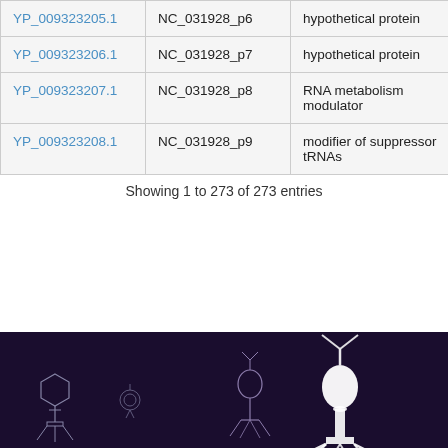| Accession | Gene | Description | ph |
| --- | --- | --- | --- |
| YP_009323205.1 | NC_031928_p6 | hypothetical protein | ph |
| YP_009323206.1 | NC_031928_p7 | hypothetical protein | ph |
| YP_009323207.1 | NC_031928_p8 | RNA metabolism modulator | ph |
| YP_009323208.1 | NC_031928_p9 | modifier of suppressor tRNAs | ph |
Showing 1 to 273 of 273 entries
[Figure (illustration): Dark purple/maroon footer banner showing bacteriophage illustrations (phage particles) in outline/white against dark background]